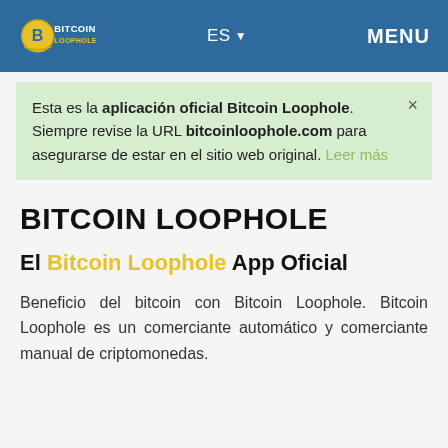[Figure (logo): Bitcoin Loophole logo with coin icon and text, white on blue background]
ES ▼   MENU
Esta es la aplicación oficial Bitcoin Loophole. Siempre revise la URL bitcoinloophole.com para asegurarse de estar en el sitio web original. Leer más
BITCOIN LOOPHOLE
El Bitcoin Loophole App Oficial
Beneficio del bitcoin con Bitcoin Loophole. Bitcoin Loophole es un comerciante automático y comerciante manual de criptomonedas.